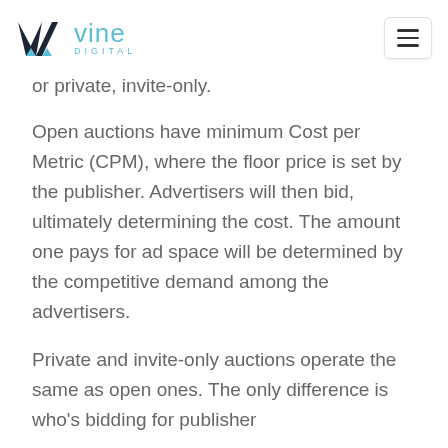vine digital
or private, invite-only.
Open auctions have minimum Cost per Metric (CPM), where the floor price is set by the publisher. Advertisers will then bid, ultimately determining the cost. The amount one pays for ad space will be determined by the competitive demand among the advertisers.
Private and invite-only auctions operate the same as open ones. The only difference is who's bidding for publisher